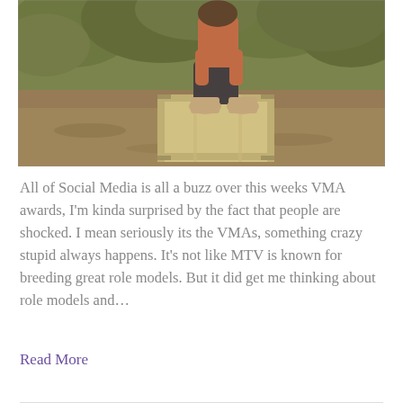[Figure (photo): Outdoor vintage photo of a person sitting on a weathered wooden crate/trunk in a field or dirt path, wearing dark pants, an orange/rust top, and tan boots. Trees and greenery visible in the background. Warm, sepia-toned vintage photography style.]
All of Social Media is all a buzz over this weeks VMA awards, I'm kinda surprised by the fact that people are shocked. I mean seriously its the VMAs, something crazy stupid always happens. It's not like MTV is known for breeding great role models. But it did get me thinking about role models and…
Read More